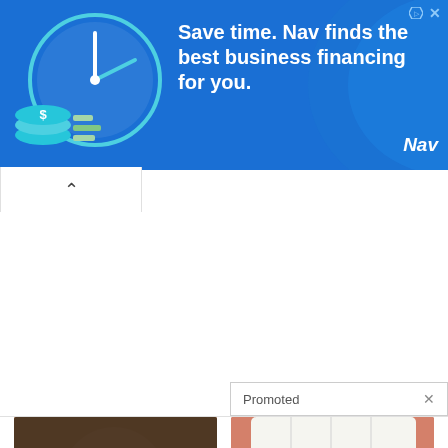[Figure (screenshot): Nav advertisement banner: clock and dollar sign illustration on blue background with text 'Save time. Nav finds the best business financing for you.' and Nav logo]
Promoted X
[Figure (photo): Close-up of a human ear with a play button overlay]
Silence Tinnitus By Doing This Immediately!
465
[Figure (photo): Close-up of a mouth with tongue out and a blue pill, with play button overlay]
What They Didn't Want You Knowing About Metformin
6,597